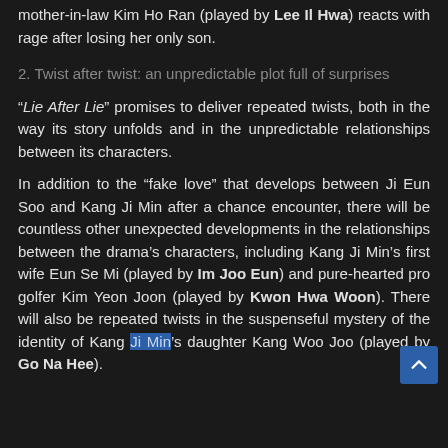mother-in-law Kim Ho Ran (played by Lee Il Hwa) reacts with rage after losing her only son.
2. Twist after twist: an unpredictable plot full of surprises
“Lie After Lie” promises to deliver repeated twists, both in the way its story unfolds and in the unpredictable relationships between its characters.
In addition to the “fake love” that develops between Ji Eun Soo and Kang Ji Min after a chance encounter, there will be countless other unexpected developments in the relationships between the drama’s characters, including Kang Ji Min’s first wife Eun Se Mi (played by Im Joo Eun) and pure-hearted pro golfer Kim Yeon Joon (played by Kwon Hwa Woon). There will also be repeated twists in the suspenseful mystery of the identity of Kang Ji Min’s daughter Kang Woo Joo (played by Go Na Hee).